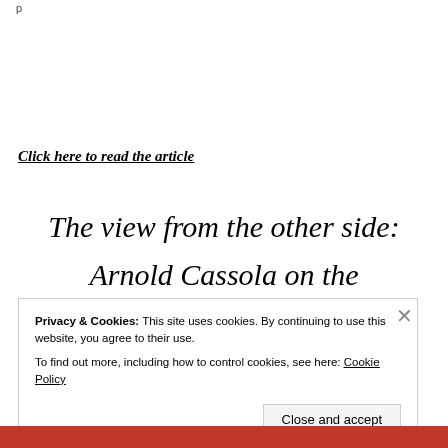p
Click here to read the article
The view from the other side:
Arnold Cassola on the
Privacy & Cookies: This site uses cookies. By continuing to use this website, you agree to their use.
To find out more, including how to control cookies, see here: Cookie Policy
Close and accept